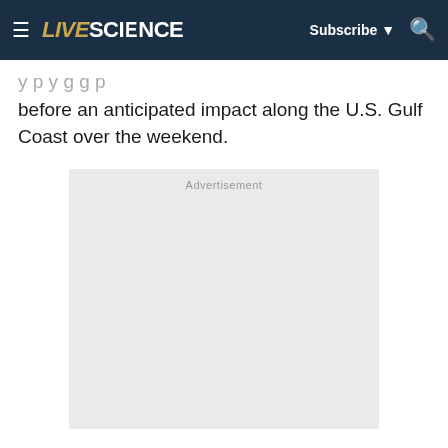LIVESCIENCE — Subscribe — Search
before an anticipated impact along the U.S. Gulf Coast over the weekend.
[Figure (other): Advertisement placeholder box with light gray background and 'Advertisement' label at top]